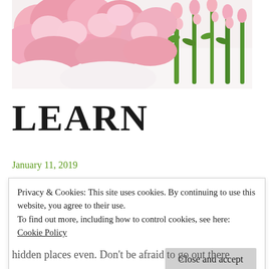[Figure (photo): Pink flowers (roses and snapdragons) on a white background, arranged at the top of the page]
LEARN
January 11, 2019
Privacy & Cookies: This site uses cookies. By continuing to use this website, you agree to their use.
To find out more, including how to control cookies, see here: Cookie Policy
[Close and accept]
hidden places even. Don't be afraid to go out there